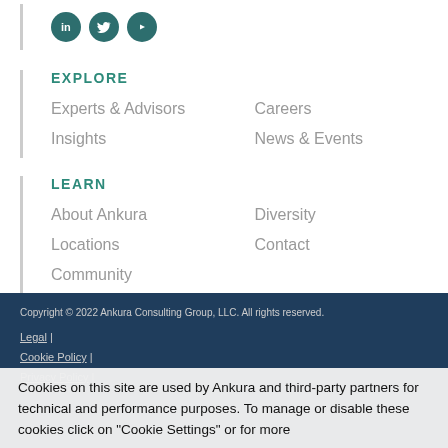[Figure (other): Social media icons row: LinkedIn, Twitter, YouTube — circular teal icons]
EXPLORE
Experts & Advisors
Careers
Insights
News & Events
LEARN
About Ankura
Diversity
Locations
Contact
Community
Copyright © 2022 Ankura Consulting Group, LLC. All rights reserved.
Legal |
Cookie Policy |
Privacy Policy |
Cookies on this site are used by Ankura and third-party partners for technical and performance purposes. To manage or disable these cookies click on "Cookie Settings" or for more